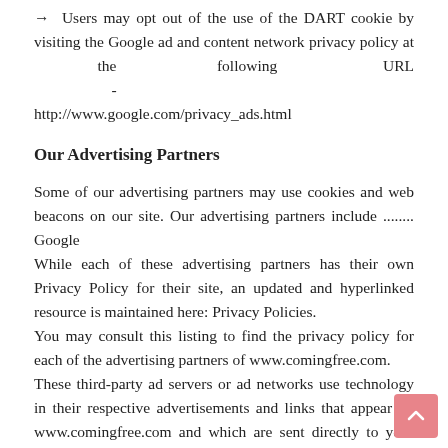→  Users may opt out of the use of the DART cookie by visiting the Google ad and content network privacy policy at the following URL - http://www.google.com/privacy_ads.html
Our Advertising Partners
Some of our advertising partners may use cookies and web beacons on our site. Our advertising partners include ........ Google
While each of these advertising partners has their own Privacy Policy for their site, an updated and hyperlinked resource is maintained here: Privacy Policies.
You may consult this listing to find the privacy policy for each of the advertising partners of www.comingfree.com.
These third-party ad servers or ad networks use technology in their respective advertisements and links that appear on www.comingfree.com and which are sent directly to your browser. They automatically receive your